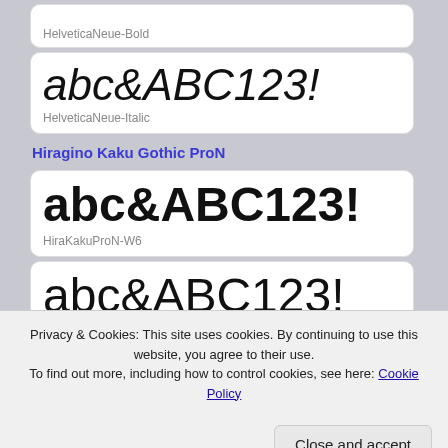abc&ABC123!
HelveticaNeue-Bold
abc&ABC123!
HelveticaNeue-Italic
Hiragino Kaku Gothic ProN
abc&ABC123!
HiraKakuProN-W6
abc&ABC123!
Privacy & Cookies: This site uses cookies. By continuing to use this website, you agree to their use. To find out more, including how to control cookies, see here: Cookie Policy
Close and accept
HiraMiniTON-W3